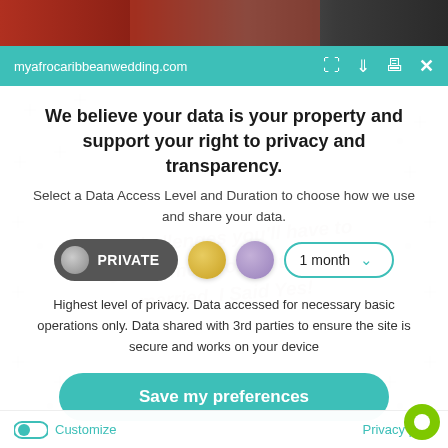[Figure (screenshot): Photo strip at top showing people in formal attire at a wedding event]
myafrocaribbeanwedding.com
We believe your data is your property and support your right to privacy and transparency.
Select a Data Access Level and Duration to choose how we use and share your data.
[Figure (screenshot): Privacy level selector showing PRIVATE button (dark gray with circle icon), gold circle, lavender circle, and 1 month dropdown]
Highest level of privacy. Data accessed for necessary basic operations only. Data shared with 3rd parties to ensure the site is secure and works on your device
[Figure (screenshot): Save my preferences button (teal rounded rectangle)]
Customize   Privacy po...